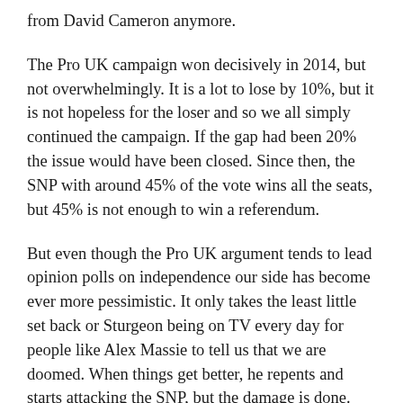from David Cameron anymore.
The Pro UK campaign won decisively in 2014, but not overwhelmingly. It is a lot to lose by 10%, but it is not hopeless for the loser and so we all simply continued the campaign. If the gap had been 20% the issue would have been closed. Since then, the SNP with around 45% of the vote wins all the seats, but 45% is not enough to win a referendum.
But even though the Pro UK argument tends to lead opinion polls on independence our side has become ever more pessimistic. It only takes the least little set back or Sturgeon being on TV every day for people like Alex Massie to tell us that we are doomed. When things get better, he repents and starts attacking the SNP, but the damage is done. Nationalist commentators never write like this. Even if the goal is far away, they tell their supporters that they are making steady progress towards it. So too we have “Pro UK” voices telling us that if there were a referendum tomorrow then the SNP would